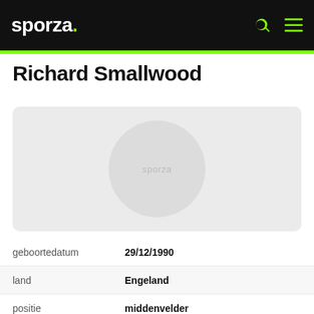sporza.
Richard Smallwood
[Figure (photo): Placeholder profile image with sporza watermark on grey background with circular shape]
|  |  |
| --- | --- |
| geboortedatum | 29/12/1990 |
| land | Engeland |
| positie | middenvelder |